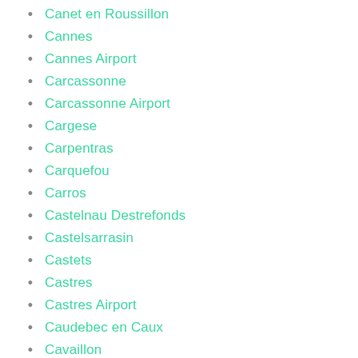Canet en Roussillon
Cannes
Cannes Airport
Carcassonne
Carcassonne Airport
Cargese
Carpentras
Carquefou
Carros
Castelnau Destrefonds
Castelsarrasin
Castets
Castres
Castres Airport
Caudebec en Caux
Cavaillon
Carry Pontoise